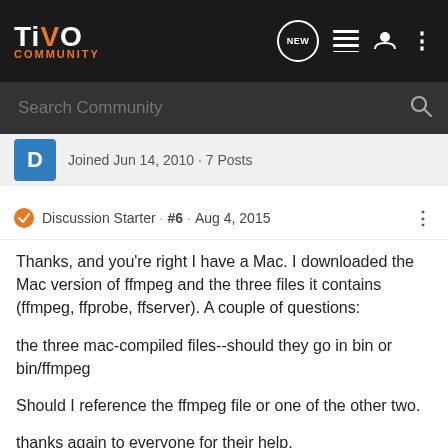TiVO COMMUNITY
Search Community
Joined Jun 14, 2010 · 7 Posts
Discussion Starter · #6 · Aug 4, 2015
Thanks, and you're right I have a Mac. I downloaded the Mac version of ffmpeg and the three files it contains (ffmpeg, ffprobe, ffserver). A couple of questions:
the three mac-compiled files--should they go in bin or bin/ffmpeg
Should I reference the ffmpeg file or one of the other two.
thanks again to everyone for their help.